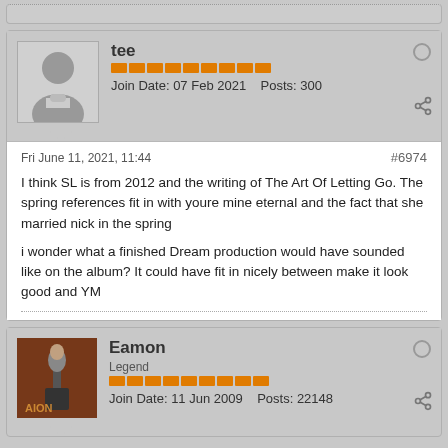tee | Join Date: 07 Feb 2021 | Posts: 300
Fri June 11, 2021, 11:44 | #6974
I think SL is from 2012 and the writing of The Art Of Letting Go. The spring references fit in with youre mine eternal and the fact that she married nick in the spring
i wonder what a finished Dream production would have sounded like on the album? It could have fit in nicely between make it look good and YM
Eamon | Legend | Join Date: 11 Jun 2009 | Posts: 22148